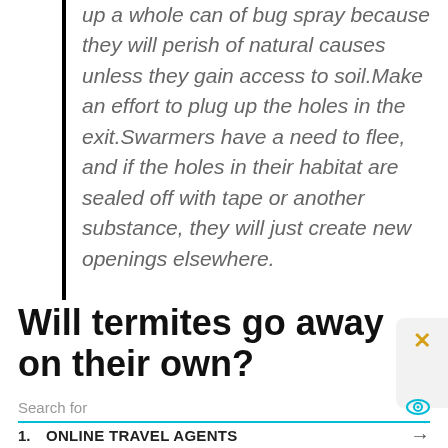up a whole can of bug spray because they will perish of natural causes unless they gain access to soil. Make an effort to plug up the holes in the exit. Swarmers have a need to flee, and if the holes in their habitat are sealed off with tape or another substance, they will just create new openings elsewhere.
Will termites go away on their own?
Search for
1. ONLINE TRAVEL AGENTS
2. LOCAL TRAVEL AGENTS
Ad | Business Focus